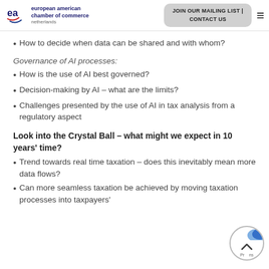European American Chamber of Commerce Netherlands | JOIN OUR MAILING LIST | CONTACT US
How to decide when data can be shared and with whom?
Governance of AI processes:
How is the use of AI best governed?
Decision-making by AI – what are the limits?
Challenges presented by the use of AI in tax analysis from a regulatory aspect
Look into the Crystal Ball – what might we expect in 10 years' time?
Trend towards real time taxation – does this inevitably mean more data flows?
Can more seamless taxation be achieved by moving taxation processes into taxpayers'